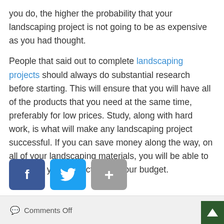you do, the higher the probability that your landscaping project is not going to be as expensive as you had thought.
People that said out to complete landscaping projects should always do substantial research before starting. This will ensure that you will have all of the products that you need at the same time, preferably for low prices. Study, along with hard work, is what will make any landscaping project successful. If you can save money along the way, on all of your landscaping materials, you will be able to complete your project within your budget.
[Figure (other): Social share buttons: Facebook (blue), Twitter (light blue), Plus/More (gray)]
Comments Off